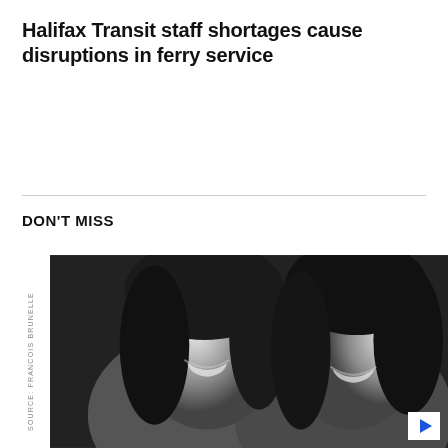Halifax Transit staff shortages cause disruptions in ferry service
DON'T MISS
[Figure (photo): Black and white portrait photo of two smiling women side by side. Source credit: FRANCOIS BRUNELLE. A play button icon is visible in the bottom right corner.]